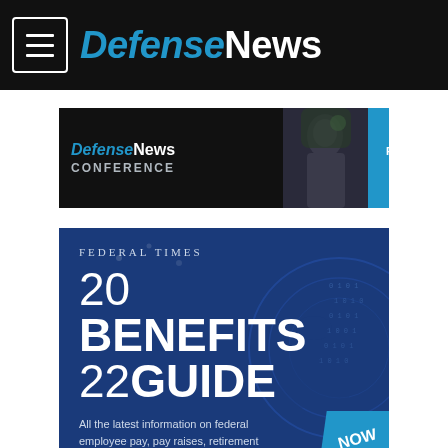DefenseNews
[Figure (screenshot): DefenseNews Conference banner advertisement with Register Now button]
[Figure (screenshot): Federal Times 2022 Benefits Guide advertisement. Text reads: FEDERAL TIMES 20 BENEFITS 22 GUIDE. All the latest information on federal employee pay, pay raises, retirement benefits, health benefits, open season, and tuition assistance.]